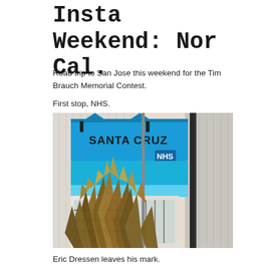Insta Weekend: Nor Cal.
Road trip to San Jose this weekend for the Tim Brauch Memorial Contest.
First stop, NHS.
[Figure (photo): Exterior storefront of Santa Cruz NHS skate shop with bright blue awning displaying 'Santa Cruz NHS' logo and address '104 Front St.', with large spiky desert plants in the foreground.]
Eric Dressen leaves his mark.